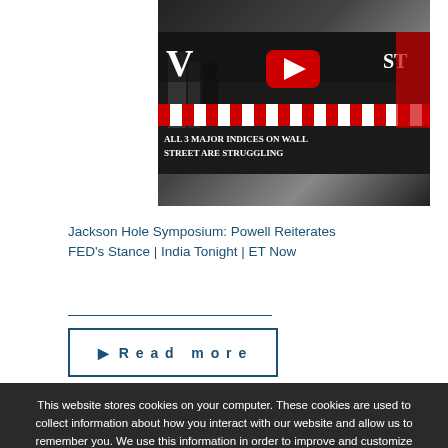[Figure (screenshot): YouTube video thumbnail showing Wall Street sign with text 'ALL 3 MAJOR INDICES ON WALL STREET ARE STRUGGLING']
Jackson Hole Symposium: Powell Reiterates FED's Stance | India Tonight | ET Now
Read more
This website stores cookies on your computer. These cookies are used to collect information about how you interact with our website and allow us to remember you. We use this information in order to improve and customize your browsing experience and for analytics and metrics about our visitors both on this website and other media. To find out more about the cookies we use, see our Privacy Policy.
Ok